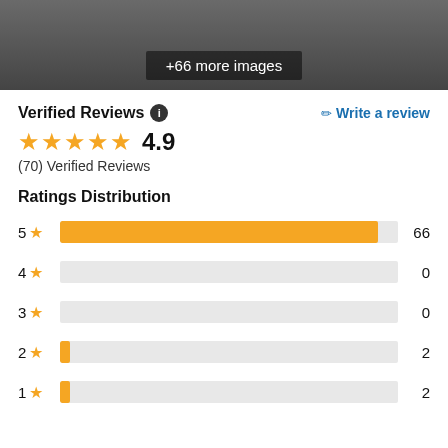[Figure (photo): Partially visible photo with overlay showing '+66 more images']
Verified Reviews
4.9
(70) Verified Reviews
Ratings Distribution
[Figure (bar-chart): Ratings Distribution]